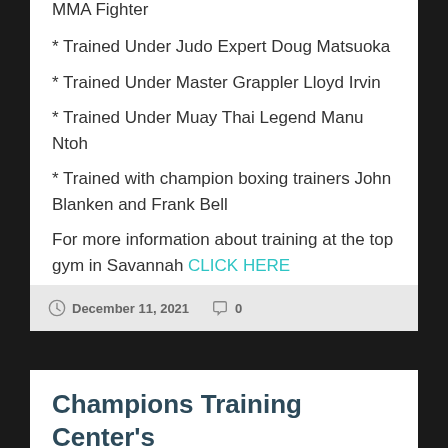MMA Fighter
* Trained Under Judo Expert Doug Matsuoka
* Trained Under Master Grappler Lloyd Irvin
* Trained Under Muay Thai Legend Manu Ntoh
* Trained with champion boxing trainers John Blanken and Frank Bell
For more information about training at the top gym in Savannah CLICK HERE
December 11, 2021  0
Champions Training Center's Brandon Moran Electrifies in His Pro